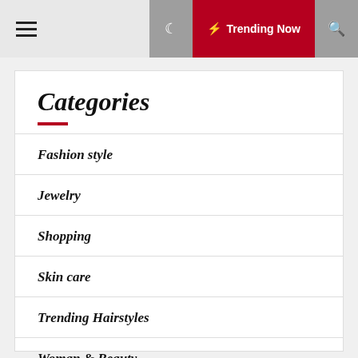Trending Now
Categories
Fashion style
Jewelry
Shopping
Skin care
Trending Hairstyles
Woman & Beauty